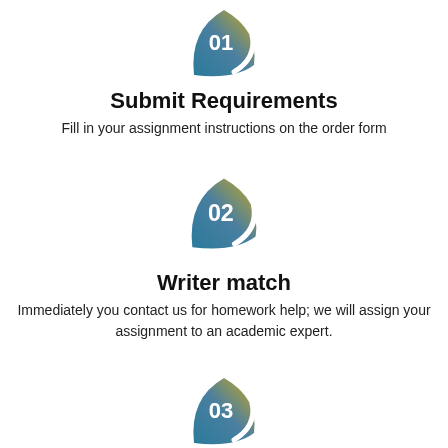[Figure (infographic): Leaf-shaped icon with gradient (teal to yellow-gold) containing the number 01 in white]
Submit Requirements
Fill in your assignment instructions on the order form
[Figure (infographic): Leaf-shaped icon with gradient (teal to yellow-gold) containing the number 02 in white]
Writer match
Immediately you contact us for homework help; we will assign your assignment to an academic expert.
[Figure (infographic): Leaf-shaped icon with gradient (teal to yellow-gold) containing the number 03 in white]